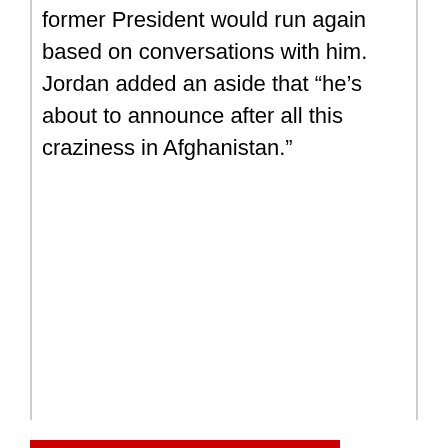former President would run again based on conversations with him. Jordan added an aside that “he’s about to announce after all this craziness in Afghanistan.”